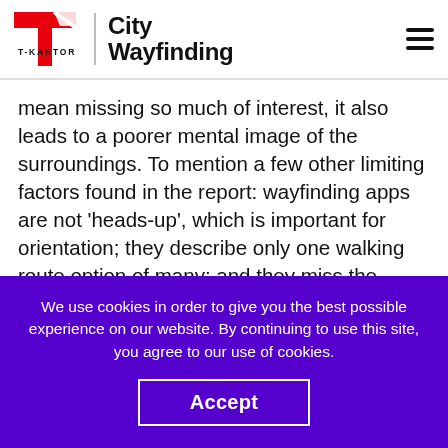T-KARTOR City Wayfinding
mean missing so much of interest, it also leads to a poorer mental image of the surroundings. To mention a few other limiting factors found in the report: wayfinding apps are not 'heads-up', which is important for orientation; they describe only one walking route option of many; and they miss the opportunity to pick out landmark buildings on the way.
We use cookies in order to give you the best possible experience on our website. By continuing to use this site, you agree to our use of cookies.
Accept